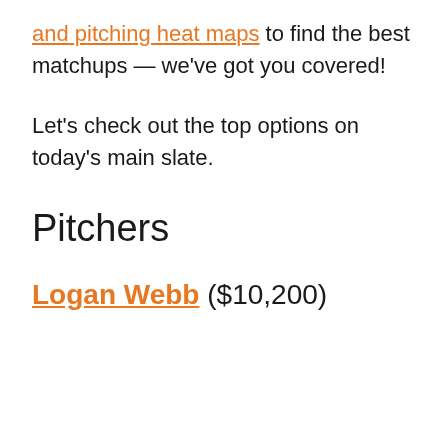and pitching heat maps to find the best matchups — we've got you covered!
Let's check out the top options on today's main slate.
Pitchers
Logan Webb ($10,200)